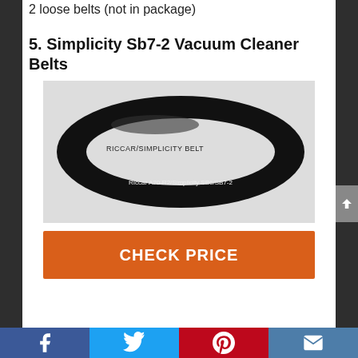2 loose belts (not in package)
5. Simplicity Sb7-2 Vacuum Cleaner Belts
[Figure (photo): A black rubber vacuum cleaner belt (ring/loop shape) on a white/light background. Text on image reads 'RICCAR/SIMPLICITY BELT' and 'RIccar A20-R2/Simplicity SB6/SB7-2']
CHECK PRICE
Social share bar with Facebook, Twitter, Pinterest, and Email icons